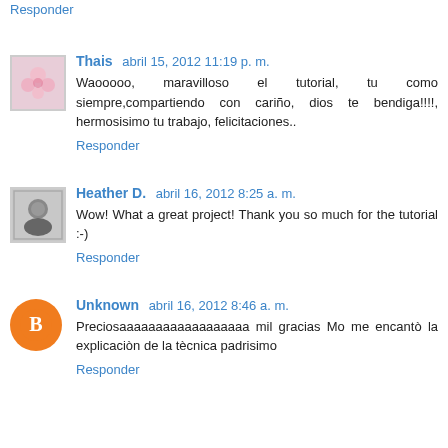Responder
Thais abril 15, 2012 11:19 p. m.
Waooooo, maravilloso el tutorial, tu como siempre,compartiendo con cariño, dios te bendiga!!!!, hermosisimo tu trabajo, felicitaciones..
Responder
Heather D. abril 16, 2012 8:25 a. m.
Wow! What a great project! Thank you so much for the tutorial :-)
Responder
Unknown abril 16, 2012 8:46 a. m.
Preciosaaaaaaaaaaaaaaaaaa mil gracias Mo me encantò la explicaciòn de la tècnica padrisimo
Responder